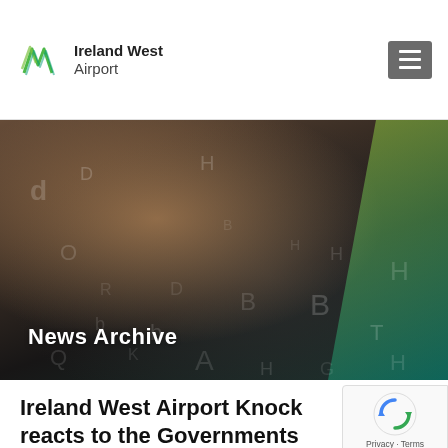Ireland West Airport
[Figure (screenshot): Hero banner image showing hands typing on a laptop keyboard with floating alphabet letters overlay and a green diagonal stripe on the right side. The text 'News Archive' appears in white bold text at the bottom left.]
Ireland West Airport Knock reacts to the Governments announcement of the